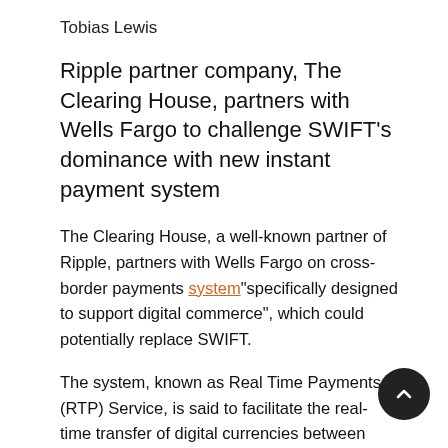Tobias Lewis
Ripple partner company, The Clearing House, partners with Wells Fargo to challenge SWIFT's dominance with new instant payment system
The Clearing House, a well-known partner of Ripple, partners with Wells Fargo on cross-border payments system“specifically designed to support digital commerce”, which could potentially replace SWIFT.
The system, known as Real Time Payments (RTP) Service, is said to facilitate the real-time transfer of digital currencies between eligible accounts at Wells Fargo. A new online service agreement with Wells Fargo has been shared